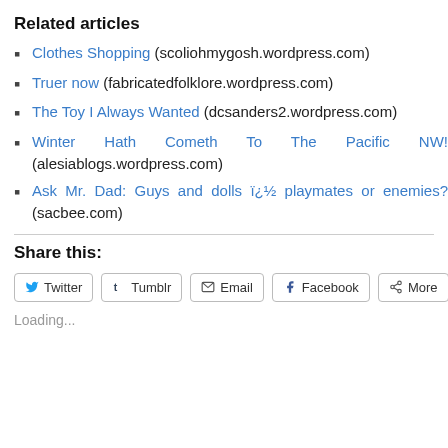Related articles
Clothes Shopping (scoliohmygosh.wordpress.com)
Truer now (fabricatedfolklore.wordpress.com)
The Toy I Always Wanted (dcsanders2.wordpress.com)
Winter Hath Cometh To The Pacific NW! (alesiablogs.wordpress.com)
Ask Mr. Dad: Guys and dolls ï¿½ playmates or enemies? (sacbee.com)
Share this:
Loading...